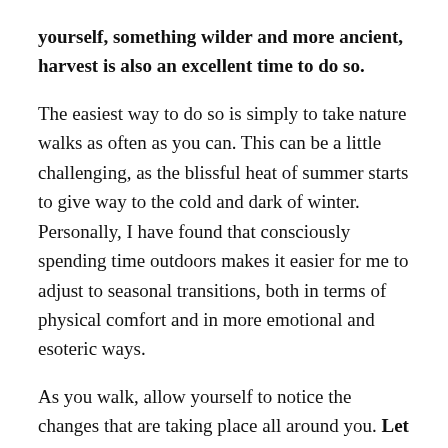yourself, something wilder and more ancient, harvest is also an excellent time to do so.
The easiest way to do so is simply to take nature walks as often as you can. This can be a little challenging, as the blissful heat of summer starts to give way to the cold and dark of winter. Personally, I have found that consciously spending time outdoors makes it easier for me to adjust to seasonal transitions, both in terms of physical comfort and in more emotional and esoteric ways.
As you walk, allow yourself to notice the changes that are taking place all around you. Let yourself feel whatever you feel about the colder winds and the dying leaves, whether that's sorrow or excitement.
...